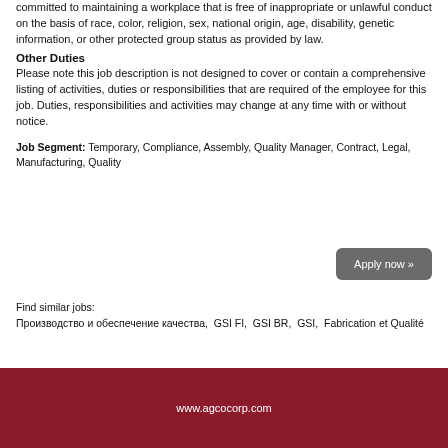committed to maintaining a workplace that is free of inappropriate or unlawful conduct on the basis of race, color, religion, sex, national origin, age, disability, genetic information, or other protected group status as provided by law.
Other Duties
Please note this job description is not designed to cover or contain a comprehensive listing of activities, duties or responsibilities that are required of the employee for this job. Duties, responsibilities and activities may change at any time with or without notice.
Job Segment: Temporary, Compliance, Assembly, Quality Manager, Contract, Legal, Manufacturing, Quality
Apply now »
Find similar jobs:
Производство и обеспечение качества,  GSI FI,  GSI BR,  GSI,  Fabrication et Qualité
www.agcocorp.com